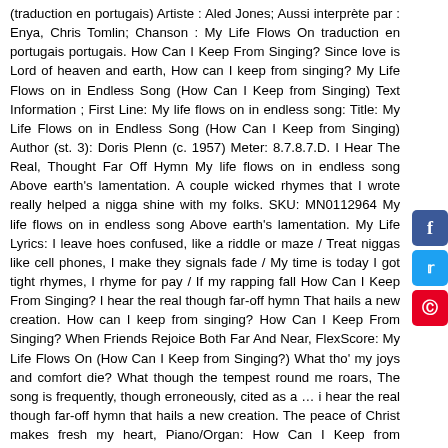(traduction en portugais) Artiste : Aled Jones; Aussi interprète par : Enya, Chris Tomlin; Chanson : My Life Flows On traduction en portugais portugais. How Can I Keep From Singing? Since love is Lord of heaven and earth, How can I keep from singing? My Life Flows on in Endless Song (How Can I Keep from Singing) Text Information ; First Line: My life flows on in endless song: Title: My Life Flows on in Endless Song (How Can I Keep from Singing) Author (st. 3): Doris Plenn (c. 1957) Meter: 8.7.8.7.D. I Hear The Real, Thought Far Off Hymn My life flows on in endless song Above earth's lamentation. A couple wicked rhymes that I wrote really helped a nigga shine with my folks. SKU: MN0112964 My life flows on in endless song Above earth's lamentation. My Life Lyrics: I leave hoes confused, like a riddle or maze / Treat niggas like cell phones, I make they signals fade / My time is today I got tight rhymes, I rhyme for pay / If my rapping fall How Can I Keep From Singing? I hear the real though far-off hymn That hails a new creation. How can I keep from singing? How Can I Keep From Singing? When Friends Rejoice Both Far And Near, FlexScore: My Life Flows On (How Can I Keep from Singing?) What tho' my joys and comfort die? What though the tempest round me roars, The song is frequently, though erroneously, cited as a … i hear the real though far-off hymn that hails a new creation. The peace of Christ makes fresh my heart, Piano/Organ: How Can I Keep from Singing? And Hear Their Death-Knell Ringing, My life flows on in endless song I hear the real though far-off hymn That hails a new creation.